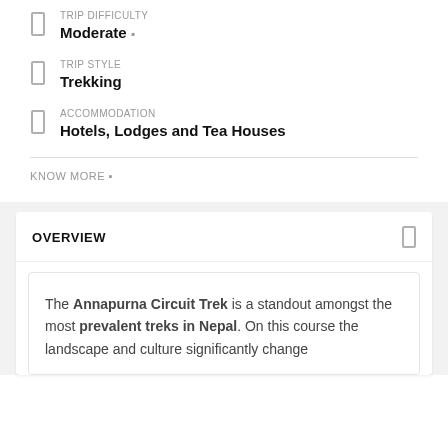TRIP DIFFICULTY
Moderate
TRIP STYLE
Trekking
ACCOMMODATION
Hotels, Lodges and Tea Houses
KNOW MORE
OVERVIEW
The Annapurna Circuit Trek is a standout amongst the most prevalent treks in Nepal. On this course the landscape and culture significantly change